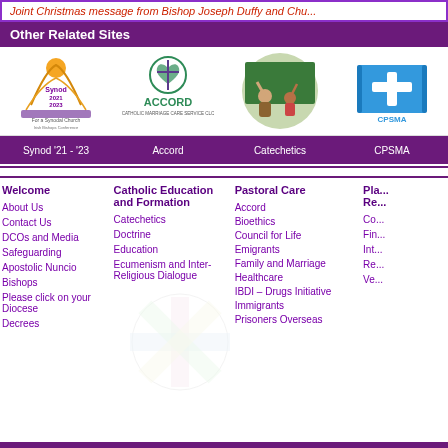Joint Christmas message from Bishop Joseph Duffy and Chu...
Other Related Sites
[Figure (logo): Synod 2021-2023 For a Synodal Church logo]
[Figure (logo): ACCORD Catholic Marriage Care Service CLC logo]
[Figure (logo): Catechetics - children raising hands in classroom photo]
[Figure (logo): CPSMA logo - blue book with cross]
Synod '21 - '23
Accord
Catechetics
CPSMA
Welcome
Catholic Education and Formation
Pastoral Care
Pla... Re...
About Us
Catechetics
Accord
Co...
Contact Us
Doctrine
Bioethics
Fin...
DCOs and Media
Education
Council for Life
Int...
Safeguarding
Ecumenism and Inter-Religious Dialogue
Emigrants
Re...
Apostolic Nuncio
Family and Marriage
Ve...
Bishops
Healthcare
Please click on your Diocese
IBDI – Drugs Initiative
Decrees
Immigrants
Prisoners Overseas